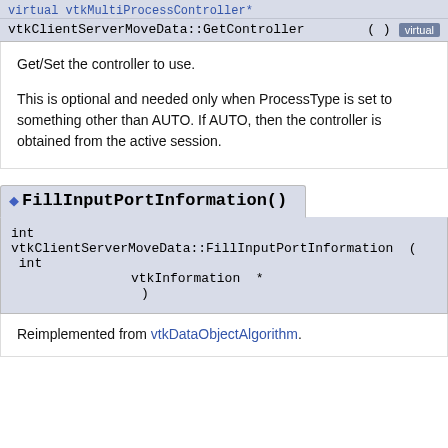virtual vtkMultiProcessController*
vtkClientServerMoveData::GetController ( ) virtual
Get/Set the controller to use.

This is optional and needed only when ProcessType is set to something other than AUTO. If AUTO, then the controller is obtained from the active session.
◆ FillInputPortInformation()
int
vtkClientServerMoveData::FillInputPortInformation ( int
    vtkInformation *
    )
Reimplemented from vtkDataObjectAlgorithm.